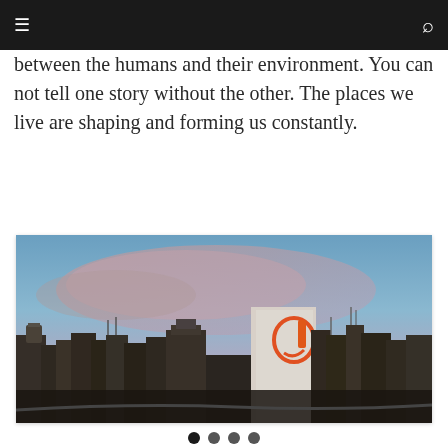≡  🔍
between the humans and their environment. You can not tell one story without the other. The places we live are shaping and forming us constantly.
[Figure (photo): Urban cityscape photograph at dusk/sunset showing rooftops and buildings against a blue-pink cloudy sky. A white building with an orange logo/sign is visible in the center-right. Various antennas, water tanks, and urban structures are silhouetted in the foreground.]